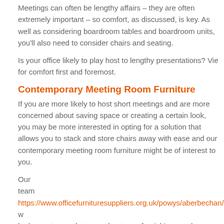Meetings can often be lengthy affairs – they are often extremely important – so comfort, as discussed, is key. As well as considering boardroom tables and boardroom units, you'll also need to consider chairs and seating.
Is your office likely to play host to lengthy presentations? Vie for comfort first and foremost.
Contemporary Meeting Room Furniture
If you are more likely to host short meetings and are more concerned about saving space or creating a certain look, you may be more interested in opting for a solution that allows you to stack and store chairs away with ease and our contemporary meeting room furniture might be of interest to you.
Our team https://www.officefurnituresuppliers.org.uk/powys/aberbechan/ w be happy to speak to you about your furnishing needs, so please do not hesitate to fill in our contact form and get in touch.
Conference Room Furniture
There's nothing set in stone to say that conference room furniture